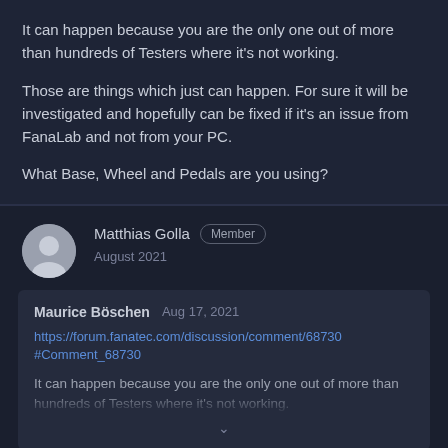It can happen because you are the only one out of more than hundreds of Testers where it's not working.

Those are things which just can happen. For sure it will be investigated and hopefully can be fixed if it's an issue from FanaLab and not from your PC.

What Base, Wheel and Pedals are you using?
Matthias Golla  Member
August 2021
Maurice Böschen  Aug 17, 2021
https://forum.fanatec.com/discussion/comment/68730#Comment_68730
It can happen because you are the only one out of more than hundreds of Testers where it's not working.